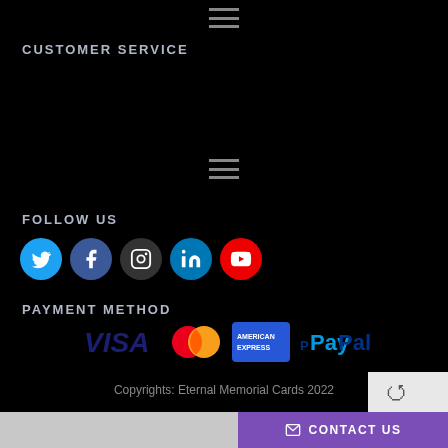CUSTOMER SERVICE
FOLLOW US
[Figure (infographic): Social media icons: Twitter (blue), Facebook (dark blue), Instagram (dark grey), LinkedIn (blue), YouTube (red)]
PAYMENT METHOD
[Figure (infographic): Payment method logos: VISA, Mastercard, American Express, PayPal]
Copyrights: Eternal Memorial Cards 2022
CONTACT US